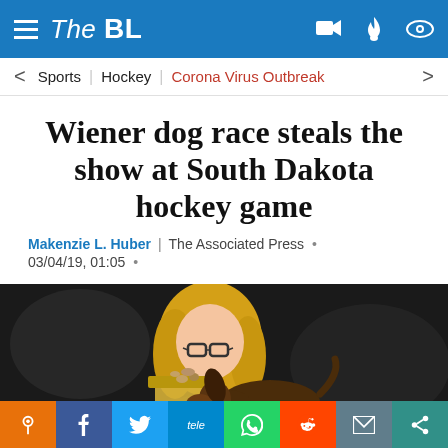The BL
Sports | Hockey | Corona Virus Outbreak
Wiener dog race steals the show at South Dakota hockey game
Makenzie L. Huber | The Associated Press • 03/04/19, 01:05 •
[Figure (photo): A young woman with blonde hair and glasses holding a dachshund dog next to a trophy filled with dog treats, at a hockey game event.]